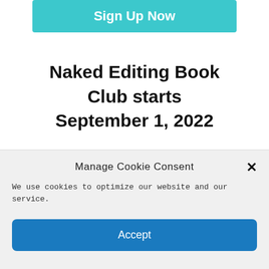[Figure (other): Teal/cyan 'Sign Up Now' button at top of page]
Naked Editing Book Club starts September 1, 2022
[Figure (photo): Photograph of a beach scene with blue sky, turquoise ocean water, and gentle waves]
Manage Cookie Consent
We use cookies to optimize our website and our service.
[Figure (other): Blue 'Accept' button for cookie consent]